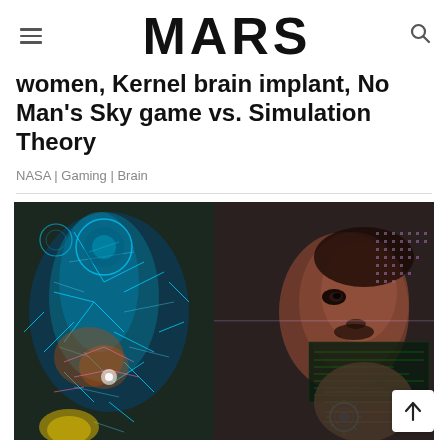MARS
women, Kernel brain implant, No Man's Sky game vs. Simulation Theory
NASA | Gaming | Brain
[Figure (photo): A man (resembling Tony Stark/Iron Man) looking at a colorful holographic interface with blue glowing network/anatomy visualization on the left and a digital display panel with dots on the right. Dark, cinematic scene.]